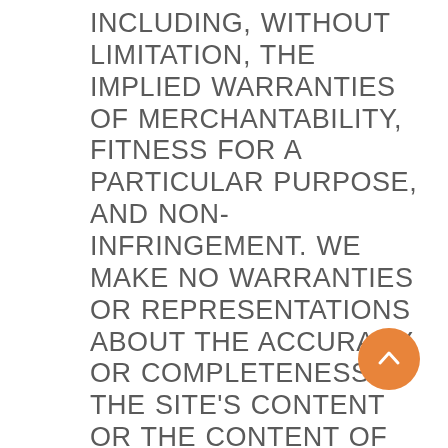INCLUDING, WITHOUT LIMITATION, THE IMPLIED WARRANTIES OF MERCHANTABILITY, FITNESS FOR A PARTICULAR PURPOSE, AND NON-INFRINGEMENT. WE MAKE NO WARRANTIES OR REPRESENTATIONS ABOUT THE ACCURACY OR COMPLETENESS OF THE SITE'S CONTENT OR THE CONTENT OF ANY WEBSITES LINKED TO THE SITE AND WE WILL ASSUME NO LIABILITY OR RESPONSIBILITY FOR ANY (1) ERRORS, MISTAKES, OR INACCURACIES OF CONTENT AND MATERIALS, (2) PERSONAL INJURY OR PROPERTY DAMAGE, OF ANY NATURE WHATSOEVER, RESULTING FROM YOUR ACCESS TO AND USE OF THE SITE, (3) ANY UNAUTHORIZED ACCESS TO OR USE OF OUR SECURE SERVERS AND/OR ANY AND ALL PERSONAL